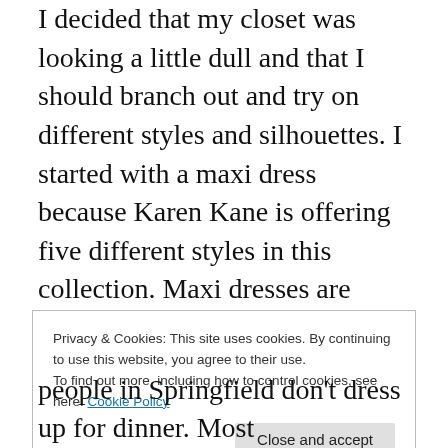I decided that my closet was looking a little dull and that I should branch out and try on different styles and silhouettes. I started with a maxi dress because Karen Kane is offering five different styles in this collection. Maxi dresses are tricky and I thought they were just for 20-somethings that are tall and thin. I may be tall, but I'm not thin and I'm certainly not 20-something. Still, I figured it wouldn't cost me anything to try it on (thanks, mom) so what the heck. The dress I chose was black (shocker) with delicate beading around the neckline. The straps are wide enough for a good bra (essential) and it's not low cut. It
Privacy & Cookies: This site uses cookies. By continuing to use this website, you agree to their use.
To find out more, including how to control cookies, see here: Cookie Policy
people in Springfield don't dress up for dinner. Most